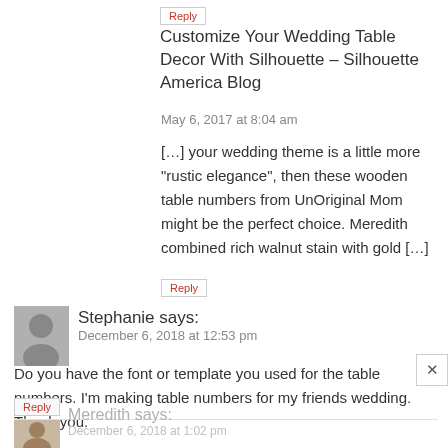Reply
Customize Your Wedding Table Decor With Silhouette – Silhouette America Blog
May 6, 2017 at 8:04 am
[…] your wedding theme is a little more "rustic elegance", then these wooden table numbers from UnOriginal Mom might be the perfect choice. Meredith combined rich walnut stain with gold […]
Reply
Stephanie says:
December 6, 2018 at 12:53 pm
Do you have the font or template you used for the table numbers. I'm making table numbers for my friends wedding. Thank you.
Reply
Meredith says:
December 6, 2018 at 1:02 pm